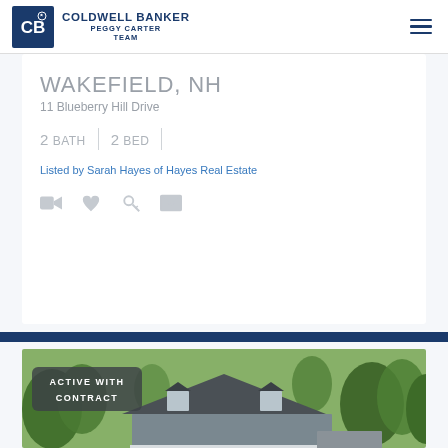COLDWELL BANKER PEGGY CARTER TEAM
WAKEFIELD, NH
11 Blueberry Hill Drive
2 BATH | 2 BED
Listed by Sarah Hayes of Hayes Real Estate
[Figure (photo): Exterior photo of a two-story house with deck surrounded by green trees, with an 'ACTIVE WITH CONTRACT' badge overlay]